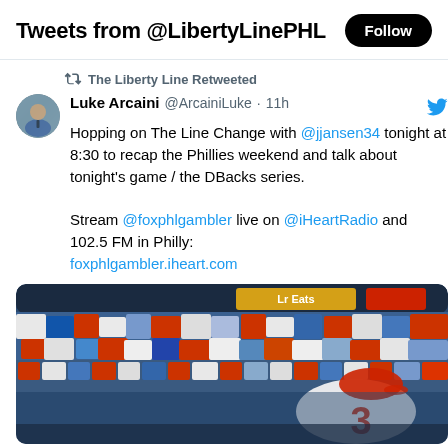Tweets from @LibertyLinePHL
The Liberty Line Retweeted
Luke Arcaini @ArcainiLuke · 11h
Hopping on The Line Change with @jjansen34 tonight at 8:30 to recap the Phillies weekend and talk about tonight's game / the DBacks series.

Stream @foxphlgambler live on @iHeartRadio and 102.5 FM in Philly:
foxphlgambler.iheart.com
[Figure (photo): A baseball player wearing number 3 in a white Phillies uniform stands in the foreground, out of focus, while a large crowd of fans fills the stadium bleachers in the background.]